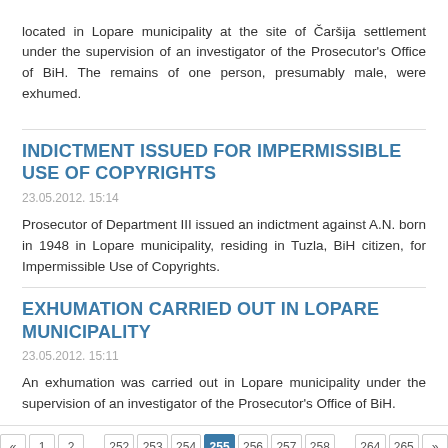located in Lopare municipality at the site of Čaršija settlement under the supervision of an investigator of the Prosecutor's Office of BiH. The remains of one person, presumably male, were exhumed.
INDICTMENT ISSUED FOR IMPERMISSIBLE USE OF COPYRIGHTS
23.05.2012. 15:14
Prosecutor of Department III issued an indictment against A.N. born in 1948 in Lopare municipality, residing in Tuzla, BiH citizen, for Impermissible Use of Copyrights.
EXHUMATION CARRIED OUT IN LOPARE MUNICIPALITY
23.05.2012. 15:11
An exhumation was carried out in Lopare municipality under the supervision of an investigator of the Prosecutor's Office of BiH.
« 1 2 … 252 253 254 255 256 257 258 … 264 265 »